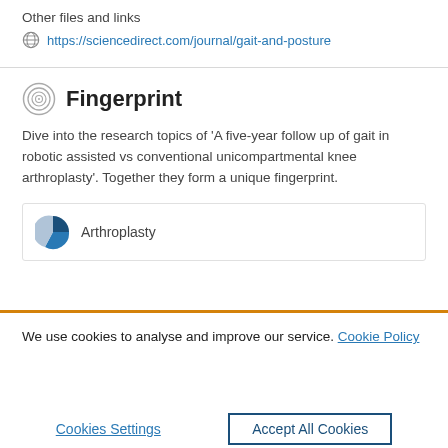Other files and links
https://sciencedirect.com/journal/gait-and-posture
Fingerprint
Dive into the research topics of 'A five-year follow up of gait in robotic assisted vs conventional unicompartmental knee arthroplasty'. Together they form a unique fingerprint.
Arthroplasty
We use cookies to analyse and improve our service. Cookie Policy
Cookies Settings
Accept All Cookies